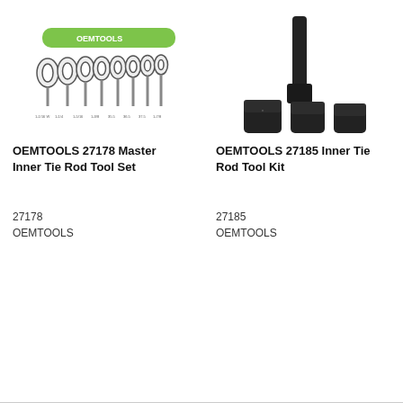[Figure (photo): OEMTOOLS 27178 Master Inner Tie Rod Tool Set - green rod with multiple wrench heads arranged in a row]
[Figure (photo): OEMTOOLS 27185 Inner Tie Rod Tool Kit - black rod with three black socket adapters]
OEMTOOLS 27178 Master Inner Tie Rod Tool Set
OEMTOOLS 27185 Inner Tie Rod Tool Kit
27178
OEMTOOLS
27185
OEMTOOLS